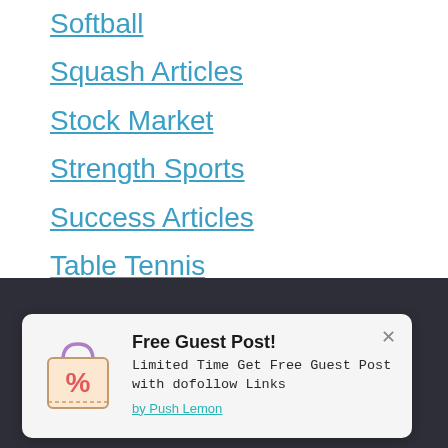Softball
Squash Articles
Stock Market
Strength Sports
Success Articles
Table Tennis
Taxes
Teaching Articles
Team Building
Technology
Free Guest Post! Limited Time Get Free Guest Post with dofollow Links by Push Lemon